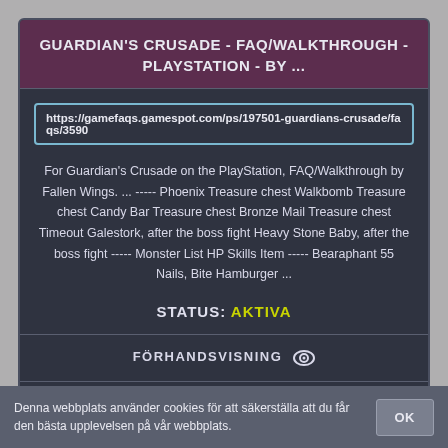GUARDIAN'S CRUSADE - FAQ/WALKTHROUGH - PLAYSTATION - BY ...
https://gamefaqs.gamespot.com/ps/197501-guardians-crusade/faqs/3590
For Guardian's Crusade on the PlayStation, FAQ/Walkthrough by Fallen Wings. ... ----- Phoenix Treasure chest Walkbomb Treasure chest Candy Bar Treasure chest Bronze Mail Treasure chest Timeout Galestork, after the boss fight Heavy Stone Baby, after the boss fight ----- Monster List HP Skills Item ----- Bearaphant 55 Nails, Bite Hamburger ...
STATUS: AKTIVA
FÖRHANDSVISNING
LADDA NER
Denna webbplats använder cookies för att säkerställa att du får den bästa upplevelsen på vår webbplats.